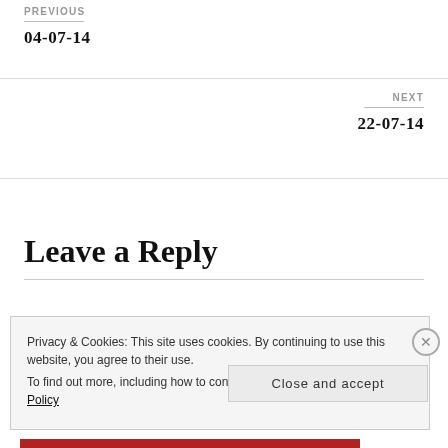PREVIOUS
04-07-14
NEXT
22-07-14
Leave a Reply
Privacy & Cookies: This site uses cookies. By continuing to use this website, you agree to their use.
To find out more, including how to control cookies, see here: Cookie Policy
Close and accept